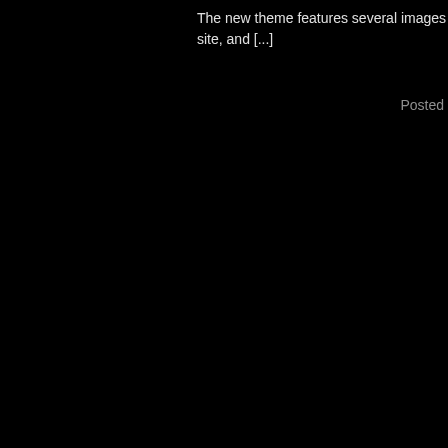The new theme features several images that were obtained, with gra site, and [...]
Posted